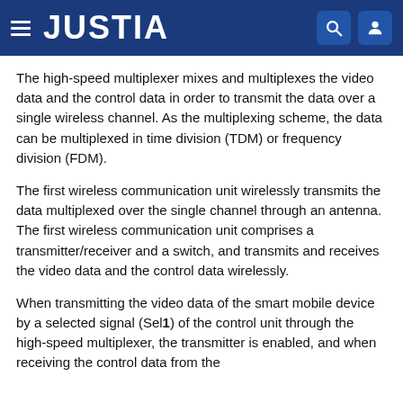JUSTIA
The high-speed multiplexer mixes and multiplexes the video data and the control data in order to transmit the data over a single wireless channel. As the multiplexing scheme, the data can be multiplexed in time division (TDM) or frequency division (FDM).
The first wireless communication unit wirelessly transmits the data multiplexed over the single channel through an antenna. The first wireless communication unit comprises a transmitter/receiver and a switch, and transmits and receives the video data and the control data wirelessly.
When transmitting the video data of the smart mobile device by a selected signal (Sel1) of the control unit through the high-speed multiplexer, the transmitter is enabled, and when receiving the control data from the